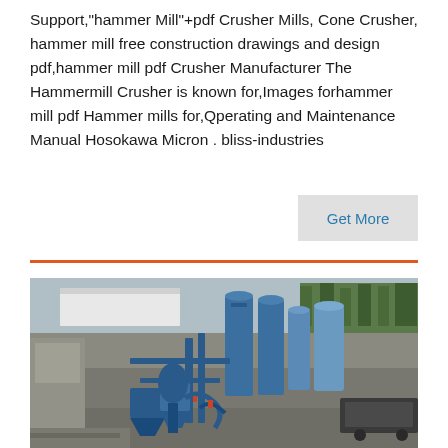Support,"hammer Mill"+pdf Crusher Mills, Cone Crusher, hammer mill free construction drawings and design pdf,hammer mill pdf Crusher Manufacturer The Hammermill Crusher is known for,Images forhammer mill pdf Hammer mills for,Qperating and Maintenance Manual Hosokawa Micron . bliss-industries
Get More
[Figure (photo): Aerial view of an industrial milling/crushing plant facility with blue silos, tanks, pipes, and machinery on a concrete pad surrounded by trees and buildings.]